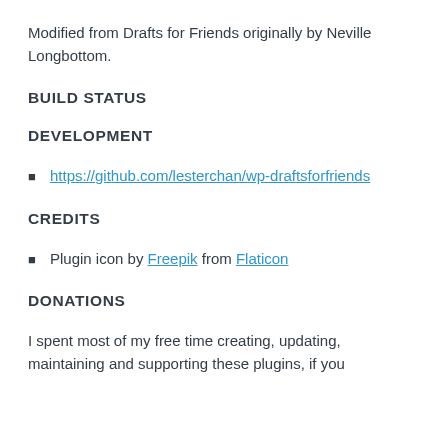Modified from Drafts for Friends originally by Neville Longbottom.
BUILD STATUS
DEVELOPMENT
https://github.com/lesterchan/wp-draftsforfriends
CREDITS
Plugin icon by Freepik from Flaticon
DONATIONS
I spent most of my free time creating, updating, maintaining and supporting these plugins, if you